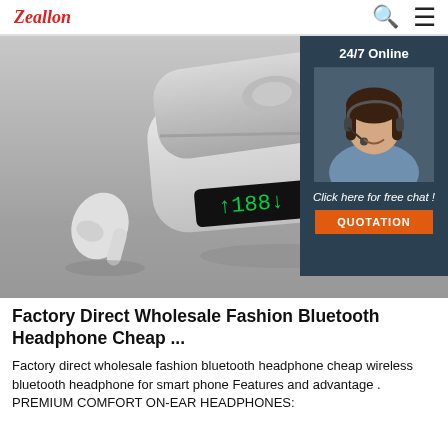Zeallon
[Figure (photo): Product photo of white wireless Bluetooth earbuds with charging case, shown in grayscale. A chat widget overlay in the top-right corner shows '24/7 Online', a customer service representative photo, 'Click here for free chat!', and an orange 'QUOTATION' button.]
Factory Direct Wholesale Fashion Bluetooth Headphone Cheap ...
Factory direct wholesale fashion bluetooth headphone cheap wireless bluetooth headphone for smart phone Features and advantage . PREMIUM COMFORT ON-EAR HEADPHONES: